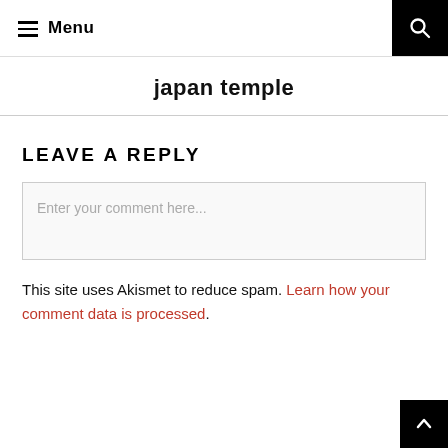≡ Menu
japan temple
LEAVE A REPLY
Enter your comment here...
This site uses Akismet to reduce spam. Learn how your comment data is processed.